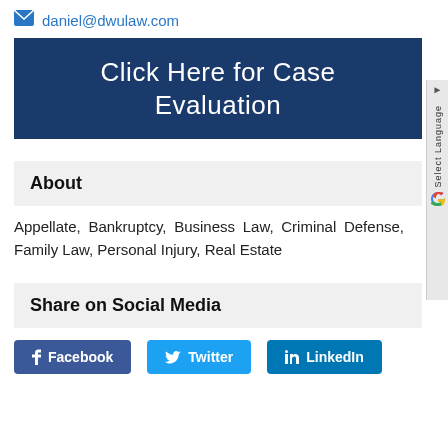daniel@dwulaw.com
[Figure (infographic): Dark blue banner with white text reading 'Click Here for Case Evaluation']
About
Appellate, Bankruptcy, Business Law, Criminal Defense, Family Law, Personal Injury, Real Estate
Share on Social Media
[Figure (infographic): Social media share buttons: Facebook (blue), Twitter (light blue), LinkedIn (dark blue)]